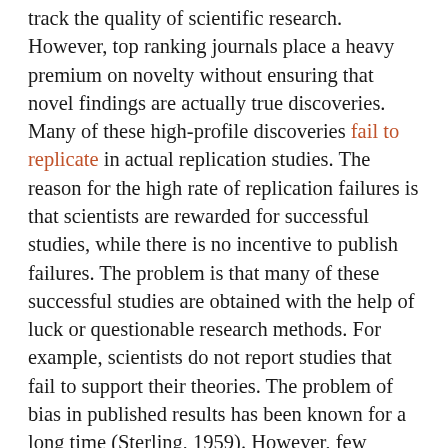track the quality of scientific research. However, top ranking journals place a heavy premium on novelty without ensuring that novel findings are actually true discoveries. Many of these high-profile discoveries fail to replicate in actual replication studies. The reason for the high rate of replication failures is that scientists are rewarded for successful studies, while there is no incentive to publish failures. The problem is that many of these successful studies are obtained with the help of luck or questionable research methods. For example, scientists do not report studies that fail to support their theories. The problem of bias in published results has been known for a long time (Sterling, 1959). However, few researchers were aware of the extent of the problem.   New evidence suggests that more than half of published results provide false or extremely biased evidence. When more than half of published results are not credible, a science loses its credibility because it is not clear which results can be trusted and which results provide false information.